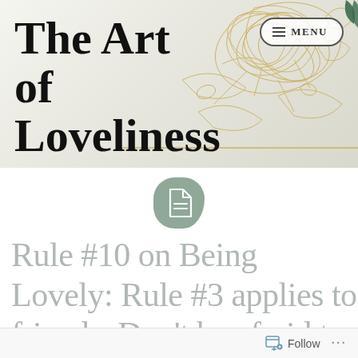[Figure (illustration): Website header with decorative gold floral line art pattern on light grey/white background. A peony flower outline and leaf details in gold are visible on the right side.]
The Art of Loveliness
≡ MENU
[Figure (logo): A dark sage green teardrop/shield shaped icon containing a white document/page icon with a folded corner]
Rule #10 on Being Lovely: Rule #3 applies to friends. Don't be afraid to
Follow ...